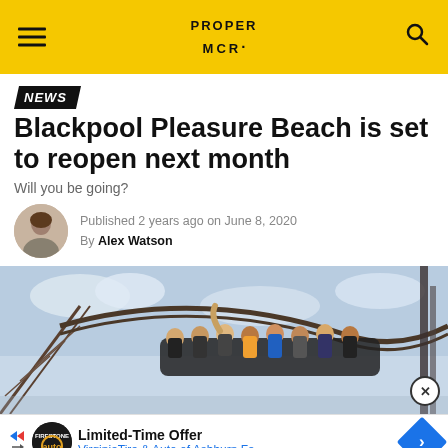PROPER MCR
NEWS
Blackpool Pleasure Beach is set to reopen next month
Will you be going?
Published 2 years ago on June 8, 2020
By Alex Watson
[Figure (photo): People on a roller coaster at Blackpool Pleasure Beach against a cloudy sky]
Limited-Time Offer
VirginiaTire & Auto of Ashburn Fa.